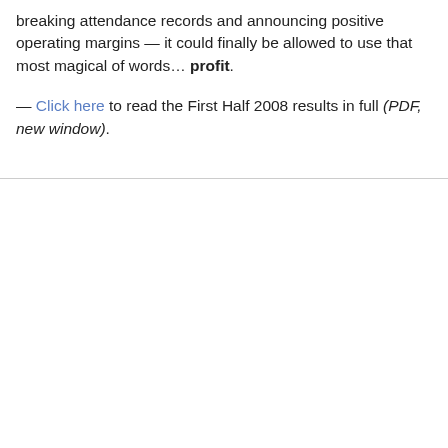breaking attendance records and announcing positive operating margins — it could finally be allowed to use that most magical of words… profit.
— Click here to read the First Half 2008 results in full (PDF, new window).